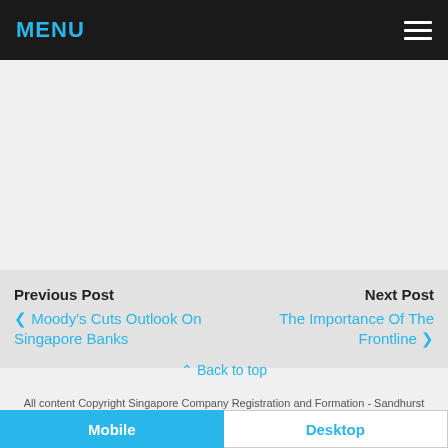MENU
Previous Post
‹ Moody's Cuts Outlook On Singapore Banks
Next Post
The Importance Of The Frontline ›
All content Copyright Singapore Company Registration and Formation - Sandhurst Consultancy
Back to top
Mobile  Desktop